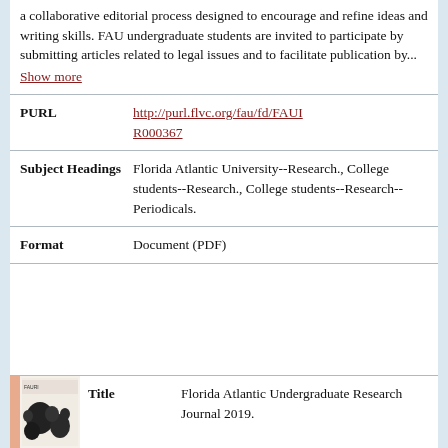a collaborative editorial process designed to encourage and refine ideas and writing skills. FAU undergraduate students are invited to participate by submitting articles related to legal issues and to facilitate publication by...
Show more
| PURL | http://purl.flvc.org/fau/fd/FAUIR000367 |
| Subject Headings | Florida Atlantic University--Research., College students--Research., College students--Research--Periodicals. |
| Format | Document (PDF) |
| Title | Florida Atlantic Undergraduate Research Journal 2019. |
[Figure (photo): Thumbnail image of Florida Atlantic Undergraduate Research Journal cover]
Florida Atlantic Undergraduate Research Journal 2019.